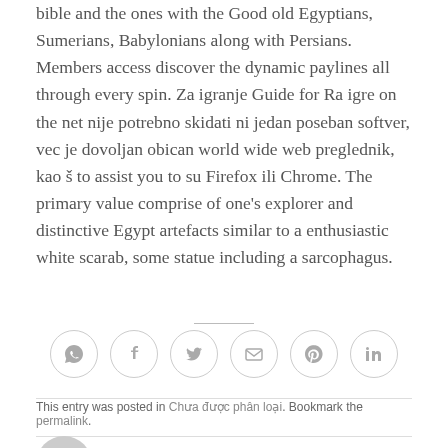bible and the ones with the Good old Egyptians, Sumerians, Babylonians along with Persians. Members access discover the dynamic paylines all through every spin. Za igranje Guide for Ra igre on the net nije potrebno skidati ni jedan poseban softver, vec je dovoljan obican world wide web preglednik, kao š to assist you to su Firefox ili Chrome. The primary value comprise of one's explorer and distinctive Egypt artefacts similar to a enthusiastic white scarab, some statue including a sarcophagus.
[Figure (other): Social share icons: WhatsApp, Facebook, Twitter, Email, Pinterest, LinkedIn — each in a circular outlined button]
This entry was posted in Chưa được phân loại. Bookmark the permalink.